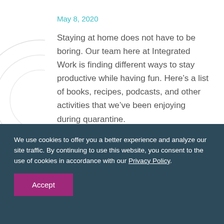May 8, 2020
Staying at home does not have to be boring. Our team here at Integrated Work is finding different ways to stay productive while having fun. Here’s a list of books, recipes, podcasts, and other activities that we’ve been enjoying during quarantine.
We use cookies to offer you a better experience and analyze our site traffic. By continuing to use this website, you consent to the use of cookies in accordance with our Privacy Policy.
Accept